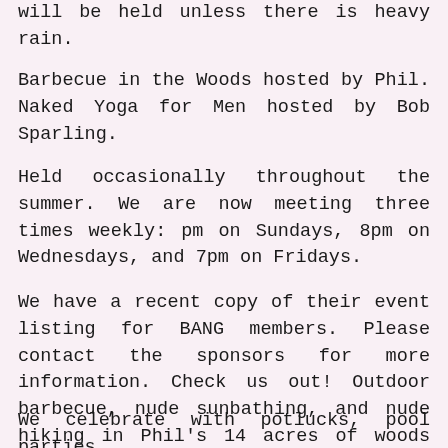will be held unless there is heavy rain.
Barbecue in the Woods hosted by Phil. Naked Yoga for Men hosted by Bob Sparling.
Held occasionally throughout the summer. We are now meeting three times weekly: pm on Sundays, 8pm on Wednesdays, and 7pm on Fridays.
We have a recent copy of their event listing for BANG members. Please contact the sponsors for more information. Check us out! Outdoor barbecue, nude sunbathing, and nude hiking in Phil's 14 acres of woods just off Rt 28 in Derry NH. Phil will provide burgers, hot dogs and soda.
We celebrate with potlucks, pool parties,